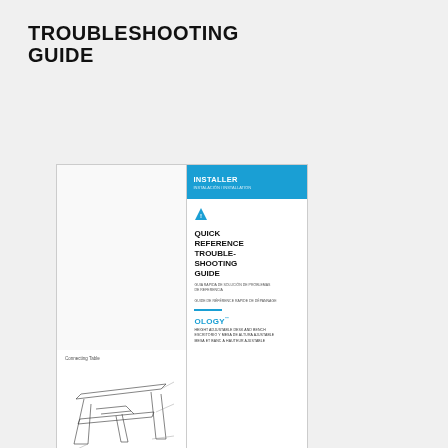TROUBLESHOOTING GUIDE
[Figure (illustration): Two document covers shown side by side: left panel shows an Ology height-adjustable desk and bench installation guide with a technical diagram of the desk frame; right panel shows an Installer Quick Reference Troubleshooting Guide with blue header, warning triangle icon, and Ology branding.]